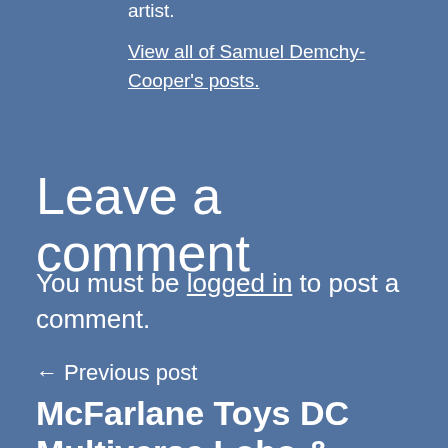artist.
View all of Samuel Demchy-Cooper's posts.
Leave a comment
You must be logged in to post a comment.
← Previous post
McFarlane Toys DC Multiverse Lobo & Superboy Prime Revealed